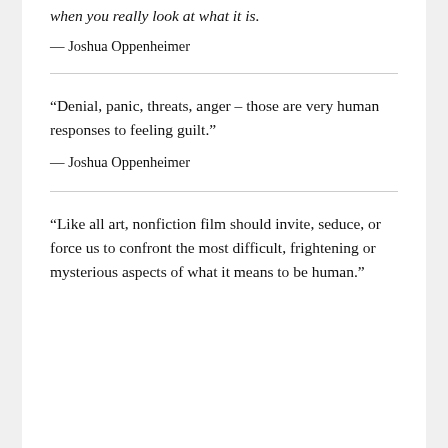when you really look at what it is.
— Joshua Oppenheimer
“Denial, panic, threats, anger – those are very human responses to feeling guilt.”
— Joshua Oppenheimer
“Like all art, nonfiction film should invite, seduce, or force us to confront the most difficult, frightening or mysterious aspects of what it means to be human.”